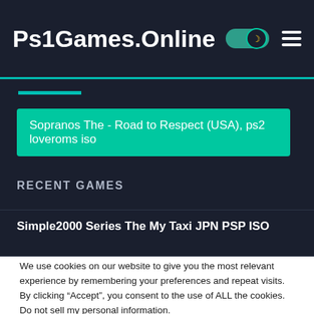Ps1Games.Online
Sopranos The - Road to Respect (USA), ps2 loveroms iso
RECENT GAMES
Simple2000 Series The My Taxi JPN PSP ISO
We use cookies on our website to give you the most relevant experience by remembering your preferences and repeat visits. By clicking “Accept”, you consent to the use of ALL the cookies.
Do not sell my personal information.
Cookie settings  ACCEPT